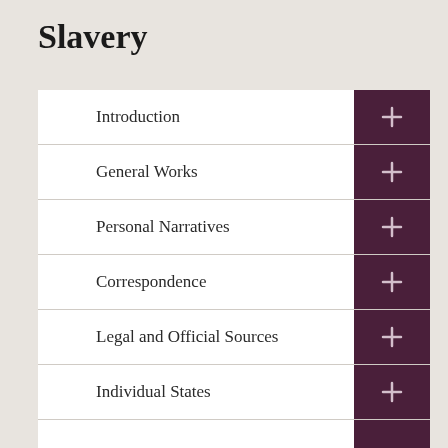Slavery
Introduction
General Works
Personal Narratives
Correspondence
Legal and Official Sources
Individual States
(partial, cut off)